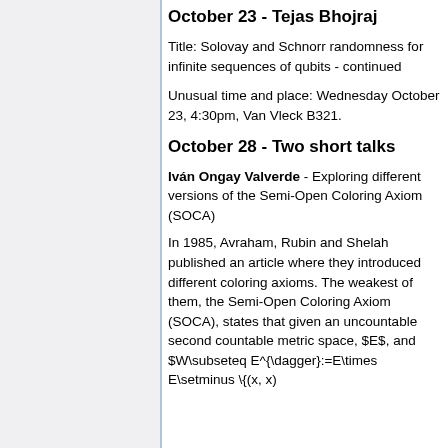October 23 - Tejas Bhojraj
Title: Solovay and Schnorr randomness for infinite sequences of qubits - continued
Unusual time and place: Wednesday October 23, 4:30pm, Van Vleck B321.
October 28 - Two short talks
Iván Ongay Valverde - Exploring different versions of the Semi-Open Coloring Axiom (SOCA)
In 1985, Avraham, Rubin and Shelah published an article where they introduced different coloring axioms. The weakest of them, the Semi-Open Coloring Axiom (SOCA), states that given an uncountable second countable metric space, $E$, and $W\subseteq E^{\dagger}:=E\times E\setminus \{(x, x)